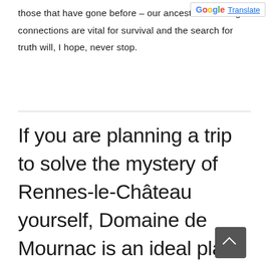those that have gone before – our ancestors. Making connections are vital for survival and the search for truth will, I hope, never stop.
If you are planning a trip to solve the mystery of Rennes-le-Château yourself, Domaine de Mournac is an ideal place to use as a base for your travels.